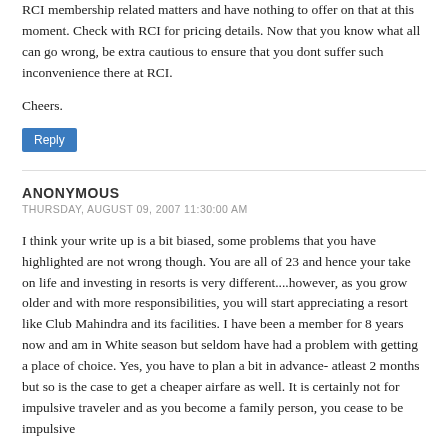RCI membership related matters and have nothing to offer on that at this moment. Check with RCI for pricing details. Now that you know what all can go wrong, be extra cautious to ensure that you dont suffer such inconvenience there at RCI.
Cheers.
Reply
ANONYMOUS
THURSDAY, AUGUST 09, 2007 11:30:00 AM
I think your write up is a bit biased, some problems that you have highlighted are not wrong though. You are all of 23 and hence your take on life and investing in resorts is very different....however, as you grow older and with more responsibilities, you will start appreciating a resort like Club Mahindra and its facilities. I have been a member for 8 years now and am in White season but seldom have had a problem with getting a place of choice. Yes, you have to plan a bit in advance- atleast 2 months but so is the case to get a cheaper airfare as well. It is certainly not for impulsive traveler and as you become a family person, you cease to be impulsive